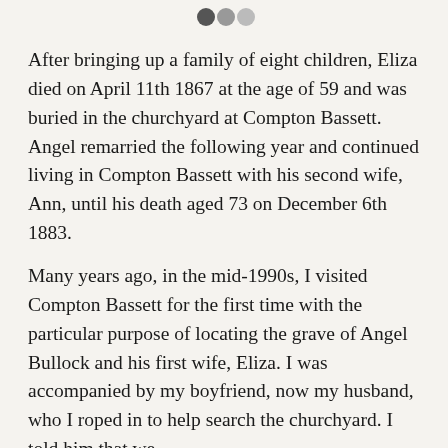[Figure (other): Three small circular dots/icons at the top center of the page, decorative navigation or pagination element]
After bringing up a family of eight children, Eliza died on April 11th 1867 at the age of 59 and was buried in the churchyard at Compton Bassett. Angel remarried the following year and continued living in Compton Bassett with his second wife, Ann, until his death aged 73 on December 6th 1883.
Many years ago, in the mid-1990s, I visited Compton Bassett for the first time with the particular purpose of locating the grave of Angel Bullock and his first wife, Eliza. I was accompanied by my boyfriend, now my husband, who I roped in to help search the churchyard. I told him that we